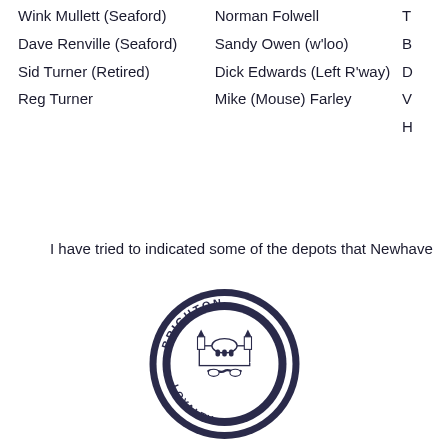Wink Mullett (Seaford)   Norman Folwell   T...
Dave Renville (Seaford)   Sandy Owen (w'loo)   B...
Sid Turner (Retired)   Dick Edwards (Left R'way)   D...
Reg Turner   Mike (Mouse) Farley   V...
H...
I have tried to indicated some of the depots that Newhave...
[Figure (logo): Brighton mutual aid or union circular badge/medallion with building and handshake motif, text reading BRIGHTON around top and LOYALTY around bottom]